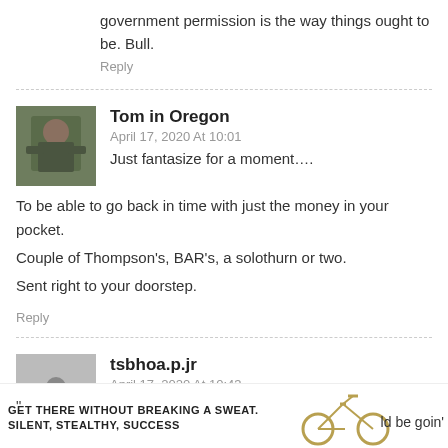government permission is the way things ought to be. Bull.
Reply
Tom in Oregon
April 17, 2020 At 10:01
Just fantasize for a moment….
To be able to go back in time with just the money in your pocket.
Couple of Thompson's, BAR's, a solothurn or two.
Sent right to your doorstep.
Reply
tsbhoa.p.jr
April 17, 2020 At 10:43
[Figure (infographic): Advertisement banner: GET THERE WITHOUT BREAKING A SWEAT. SILENT, STEALTHY, SUCCESS with a bicycle image on the right side, partially cut off.]